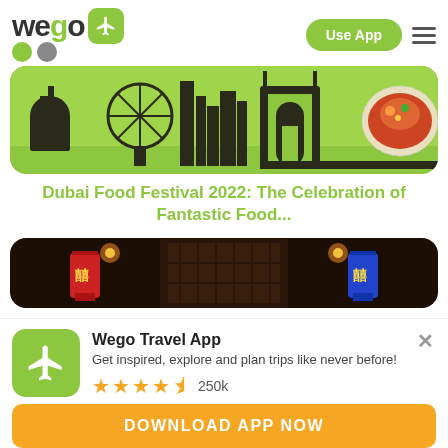wego | Use App
[Figure (photo): Green banner with Dubai city skyline silhouette in black and a food dish on the right side]
Dubai Food Festival 2022: The Celebration of Fantastic Food...
[Figure (photo): Dark interior photo of what appears to be a restaurant or market with warm lighting and colorful items]
Wego Travel App
Get inspired, explore and plan trips like never before!
★★★★½ 250k
DOWNLOAD APP NOW